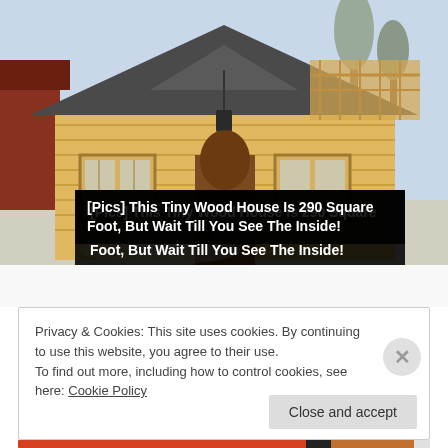[Figure (photo): Photograph of a small log cabin/wood house with a steep slate roof, wooden logs walls, a porch, and snow on the ground. The house has a warm natural wood color and lantern hanging from the entrance.]
[Pics] This Tiny Wood House Is 290 Square Foot, But Wait Till You See The Inside!
Privacy & Cookies: This site uses cookies. By continuing to use this website, you agree to their use.
To find out more, including how to control cookies, see here: Cookie Policy